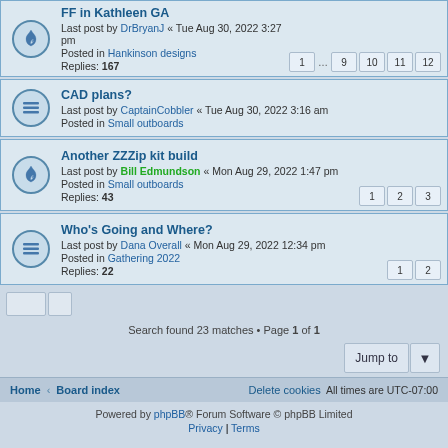FF in Kathleen GA — Last post by DrBryanJ « Tue Aug 30, 2022 3:27 pm — Posted in Hankinson designs — Replies: 167 — Pages: 1 … 9 10 11 12
CAD plans? — Last post by CaptainCobbler « Tue Aug 30, 2022 3:16 am — Posted in Small outboards
Another ZZZip kit build — Last post by Bill Edmundson « Mon Aug 29, 2022 1:47 pm — Posted in Small outboards — Replies: 43 — Pages: 1 2 3
Who's Going and Where? — Last post by Dana Overall « Mon Aug 29, 2022 12:34 pm — Posted in Gathering 2022 — Replies: 22 — Pages: 1 2
Search found 23 matches • Page 1 of 1
Jump to
Home • Board index | Delete cookies | All times are UTC-07:00
Powered by phpBB® Forum Software © phpBB Limited
Privacy | Terms